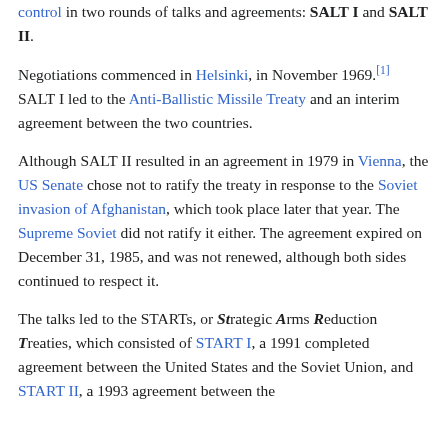control in two rounds of talks and agreements: SALT I and SALT II.
Negotiations commenced in Helsinki, in November 1969.[1] SALT I led to the Anti-Ballistic Missile Treaty and an interim agreement between the two countries.
Although SALT II resulted in an agreement in 1979 in Vienna, the US Senate chose not to ratify the treaty in response to the Soviet invasion of Afghanistan, which took place later that year. The Supreme Soviet did not ratify it either. The agreement expired on December 31, 1985, and was not renewed, although both sides continued to respect it.
The talks led to the STARTs, or Strategic Arms Reduction Treaties, which consisted of START I, a 1991 completed agreement between the United States and the Soviet Union, and START II, a 1993 agreement between the